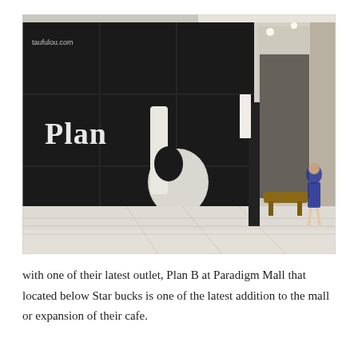[Figure (photo): Exterior entrance of Plan B cafe at Paradigm Mall. A large black cube-shaped structure dominates the left side with a white graffiti-style letter 'b' and the word 'Plan' in white text. To the right is the glass-fronted interior entrance of the mall corridor with bright lighting. A woman in a blue dress stands near the right side. Watermark reads 'taufulou.com' in the upper left corner.]
with one of their latest outlet, Plan B at Paradigm Mall that located below Star bucks is one of the latest addition to the mall or expansion of their cafe.